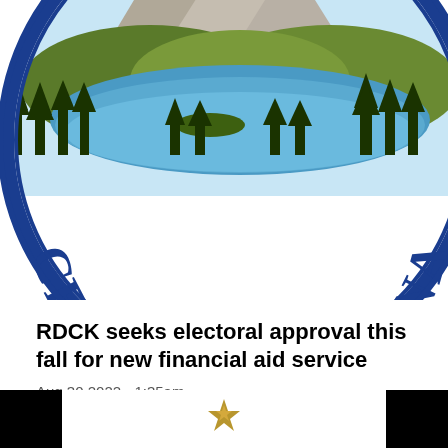[Figure (logo): Regional District of Central Kootenay (RDCK) circular logo featuring mountains, lake, and forest landscape with text 'CENTRAL KOOTENAY' along the bottom arc in blue serif letters on a light gray band, surrounded by a dark blue circular border.]
RDCK seeks electoral approval this fall for new financial aid service
Aug 30 2022 - 1:35am
[Figure (other): Bottom strip with black bars on left and right edges and a small gold/bronze cross or emblem icon in the center.]